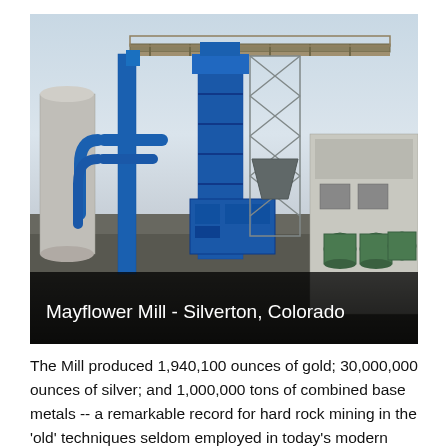[Figure (photo): Industrial mining mill facility with tall blue metal structures, conveyor systems, pipes, towers, and green storage tanks on the right. Overcast sky in background. Caption overlay reads: Mayflower Mill - Silverton, Colorado]
Mayflower Mill - Silverton, Colorado
The Mill produced 1,940,100 ounces of gold; 30,000,000 ounces of silver; and 1,000,000 tons of combined base metals -- a remarkable record for hard rock mining in the 'old' techniques seldom employed in today's modern mining